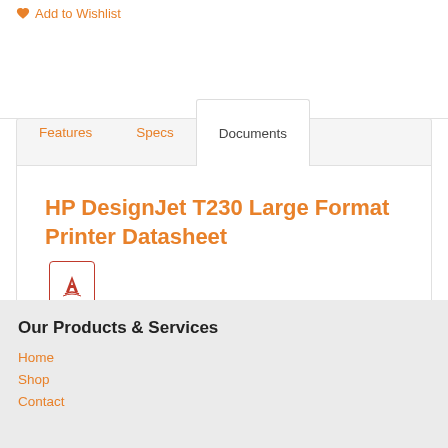Add to Wishlist
HP DesignJet T230 Large Format Printer Datasheet
Our Products & Services
Home
Shop
Contact